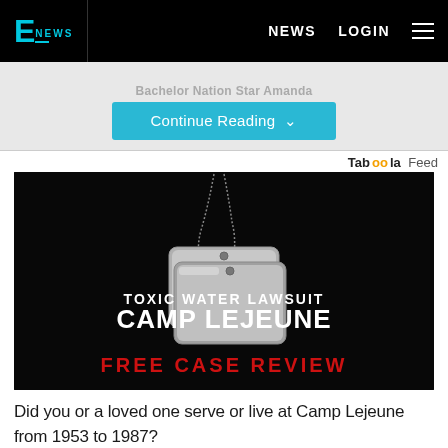E! NEWS | NEWS | LOGIN
Bachelor Nation Star Amanda
Continue Reading
Taboola Feed
[Figure (photo): Advertisement for Camp Lejeune toxic water lawsuit showing military dog tags on black background with text: TOXIC WATER LAWSUIT CAMP LEJEUNE FREE CASE REVIEW]
Did you or a loved one serve or live at Camp Lejeune from 1953 to 1987?